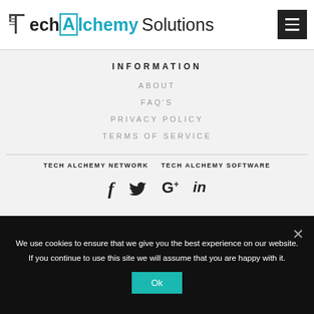Tech Alchemy Solutions
INFORMATION
ABOUT
FAQ'S
PRIVACY POLICY
TERMS OF SERVICE
TECH ALCHEMY NETWORK   TECH ALCHEMY SOFTWARE
[Figure (infographic): Social media icons: Facebook (f), Twitter (bird), Google+ (G+), LinkedIn (in)]
We use cookies to ensure that we give you the best experience on our website. If you continue to use this site we will assume that you are happy with it.